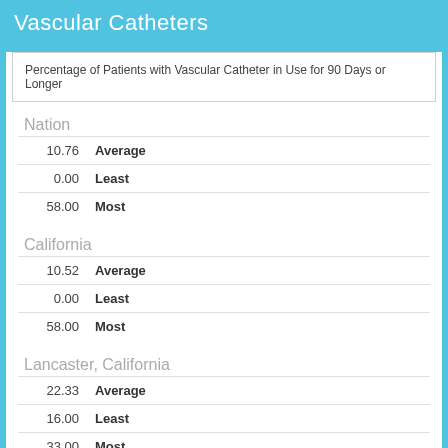Vascular Catheters
Percentage of Patients with Vascular Catheter in Use for 90 Days or Longer
Nation
| Value | Label |
| --- | --- |
| 10.76 | Average |
| 0.00 | Least |
| 58.00 | Most |
California
| Value | Label |
| --- | --- |
| 10.52 | Average |
| 0.00 | Least |
| 58.00 | Most |
Lancaster, California
| Value | Label |
| --- | --- |
| 22.33 | Average |
| 16.00 | Least |
| 33.00 | Most |